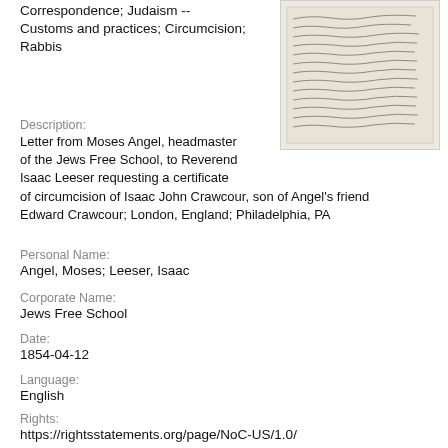Correspondence; Judaism -- Customs and practices; Circumcision; Rabbis
[Figure (photo): Thumbnail image of a handwritten letter in cursive script]
Description:
Letter from Moses Angel, headmaster of the Jews Free School, to Reverend Isaac Leeser requesting a certificate of circumcision of Isaac John Crawcour, son of Angel's friend Edward Crawcour; London, England; Philadelphia, PA
Personal Name:
Angel, Moses; Leeser, Isaac
Corporate Name:
Jews Free School
Date:
1854-04-12
Language:
English
Rights:
https://rightsstatements.org/page/NoC-US/1.0/
Collection:
Arnold and Deanne Kaplan Collection of Early American Judaica